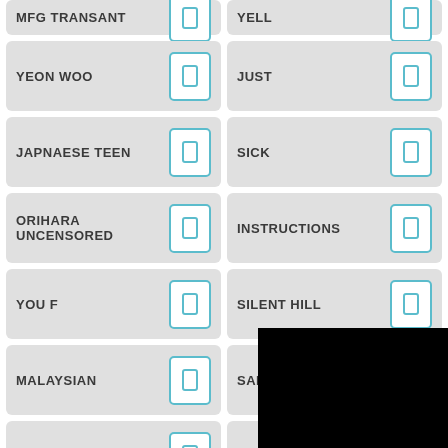MFG TRANSANT
YELL
YEON WOO
JUST
JAPNAESE TEEN
SICK
ORIHARA UNCENSORED
INSTRUCTIONS
YOU F
SILENT HILL
MALAYSIAN
SABRINA SABROCK
ANCIENT
JOHNNY SINS
SMAL TITS
DRAGON BALL
MIDDLE
BBW FOOTJO